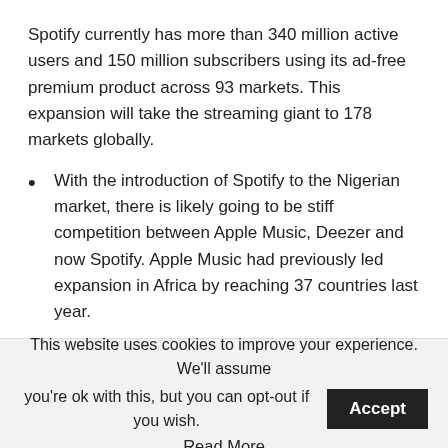Spotify currently has more than 340 million active users and 150 million subscribers using its ad-free premium product across 93 markets. This expansion will take the streaming giant to 178 markets globally.
With the introduction of Spotify to the Nigerian market, there is likely going to be stiff competition between Apple Music, Deezer and now Spotify. Apple Music had previously led expansion in Africa by reaching 37 countries last year.
It is quite clear to see that the global streaming services have identified a thriving market in Africa and the rise of Afrobeats and other popular genres will mean more opportunities for partnerships with artistes and possibly
This website uses cookies to improve your experience. We'll assume you're ok with this, but you can opt-out if you wish.
Accept
Read More